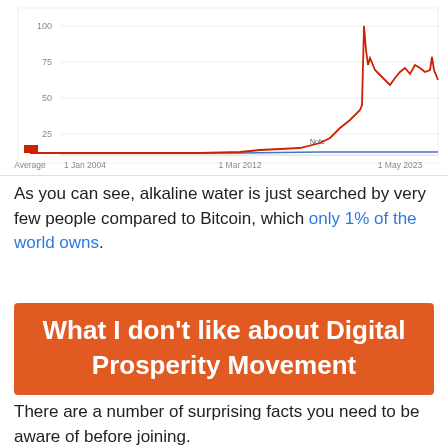[Figure (line-chart): Bitcoin vs Alkaline water Google Trends]
As you can see, alkaline water is just searched by very few people compared to Bitcoin, which only 1% of the world owns.
What I don't like about Digital Prosperity Movement
There are a number of surprising facts you need to be aware of before joining.